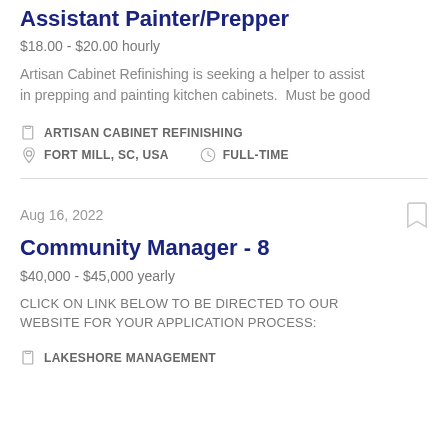Assistant Painter/Prepper
$18.00 - $20.00 hourly
Artisan Cabinet Refinishing is seeking a helper to assist in prepping and painting kitchen cabinets.  Must be good
ARTISAN CABINET REFINISHING
FORT MILL, SC, USA   FULL-TIME
Aug 16, 2022
Community Manager - 8
$40,000 - $45,000 yearly
CLICK ON LINK BELOW TO BE DIRECTED TO OUR WEBSITE FOR YOUR APPLICATION PROCESS:
LAKESHORE MANAGEMENT